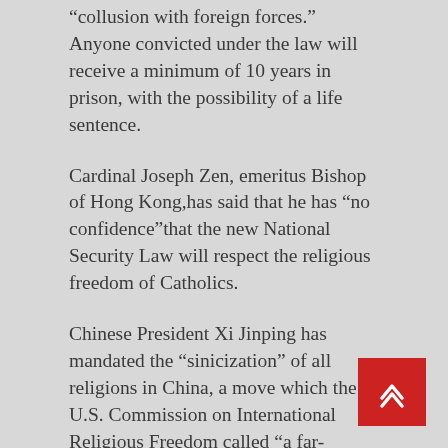“collusion with foreign forces.” Anyone convicted under the law will receive a minimum of 10 years in prison, with the possibility of a life sentence.
Cardinal Joseph Zen, emeritus Bishop of Hong Kong,has said that he has “no confidence”that the new National Security Law will respect the religious freedom of Catholics.
Chinese President Xi Jinping has mandated the “sinicization” of all religions in China, a move which the U.S. Commission on International Religious Freedom called “a far-reaching strategy to control, govern, and manipulate all aspects of faith into a socialist…